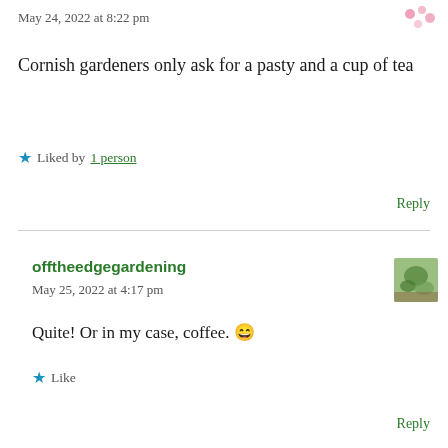May 24, 2022 at 8:22 pm
[Figure (illustration): Small pink/red avatar icon in top right corner]
Cornish gardeners only ask for a pasty and a cup of tea
★ Liked by 1 person
Reply
offtheedgegardening
May 25, 2022 at 4:17 pm
[Figure (photo): Small square avatar photo showing garden/plant image]
Quite! Or in my case, coffee. 😄
★ Like
Reply